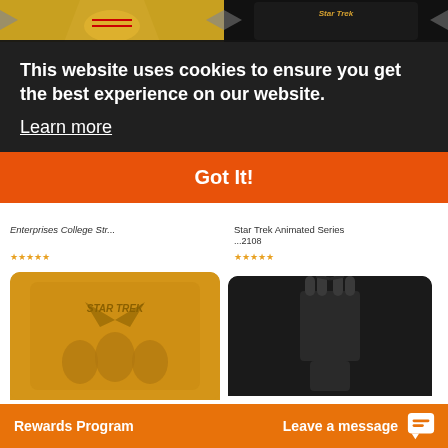[Figure (screenshot): Top portion of two product images: left is a yellow/orange Star Trek t-shirt design, right is a dark Star Trek animated series shirt]
This website uses cookies to ensure you get the best experience on our website.
Learn more
Got It!
Enterprises College Str
Star Trek Animated Series
2108
AS LOW AS: $27.20
AS LOW AS: $27.20
Made to Order
Made to Order
ADD TO CART
ADD TO CART
[Figure (screenshot): Bottom product images: left is an orange/yellow Star Trek shirt with crew, right is a black t-shirt with Vulcan hand gesture]
Rewards Program
Leave a message